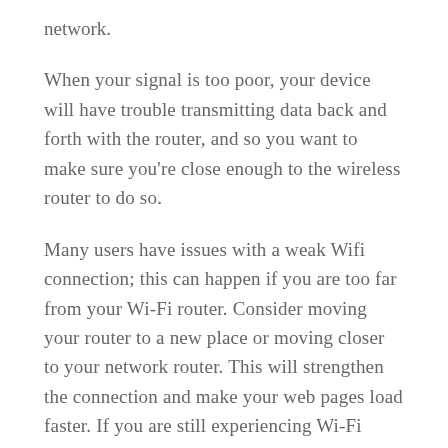network.
When your signal is too poor, your device will have trouble transmitting data back and forth with the router, and so you want to make sure you're close enough to the wireless router to do so.
Many users have issues with a weak Wifi connection; this can happen if you are too far from your Wi-Fi router. Consider moving your router to a new place or moving closer to your network router. This will strengthen the connection and make your web pages load faster. If you are still experiencing Wi-Fi problems on your iPhone 13 Pro Max, move on to the next solution.
2. Make sure Wi-Fi is turned on